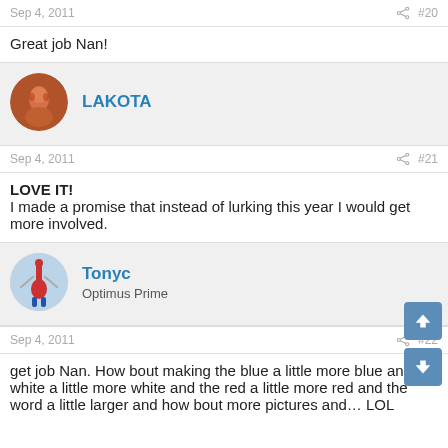Sep 4, 2011  #20
Great job Nan!
LAKOTA
Sep 4, 2011  #21
LOVE IT!
I made a promise that instead of lurking this year I would get more involved.
Tonyc
Optimus Prime
Sep 4, 2011  #22
get job Nan. How bout making the blue a little more blue and the white a little more white and the red a little more red and the word a little larger and how bout more pictures and…  LOL